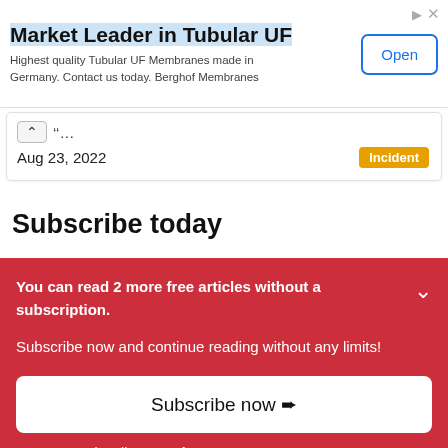[Figure (other): Advertisement banner for Berghof Membranes - Market Leader in Tubular UF with Open button]
Aug 23, 2022
Incident
Subscribe today
You can read 2 more free articles without a subscription.
Subscribe now and continue reading without any limits!
Subscribe now
Are you a subscriber? Login